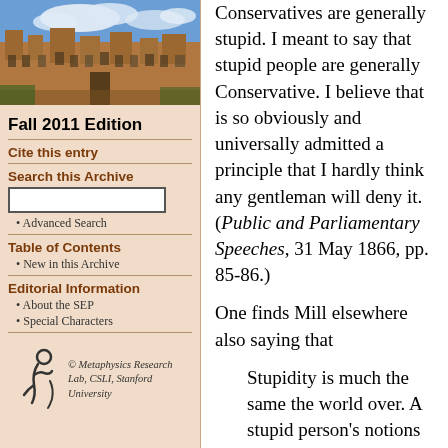[Figure (photo): Photograph of a university building with Gothic/sandstone architecture under a blue sky with clouds]
Fall 2011 Edition
Cite this entry
Search this Archive
Advanced Search
Table of Contents
New in this Archive
Editorial Information
About the SEP
Special Characters
[Figure (logo): Metaphysics Research Lab logo — stylized figure]
© Metaphysics Research Lab, CSLI, Stanford University
Conservatives are generally stupid. I meant to say that stupid people are generally Conservative. I believe that is so obviously and universally admitted a principle that I hardly think any gentleman will deny it. (Public and Parliamentary Speeches, 31 May 1866, pp. 85-86.)
One finds Mill elsewhere also saying that
Stupidity is much the same the world over. A stupid person's notions and feelings may confidently be inferred